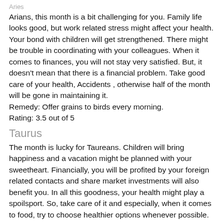Aries
Arians, this month is a bit challenging for you. Family life looks good, but work related stress might affect your health. Your bond with children will get strengthened. There might be trouble in coordinating with your colleagues. When it comes to finances, you will not stay very satisfied. But, it doesn't mean that there is a financial problem. Take good care of your health, Accidents , otherwise half of the month will be gone in maintaining it.
Remedy: Offer grains to birds every morning.
Rating: 3.5 out of 5
Taurus
The month is lucky for Taureans. Children will bring happiness and a vacation might be planned with your sweetheart. Financially, you will be profited by your foreign related contacts and share market investments will also benefit you. In all this goodness, your health might play a spoilsport. So, take care of it and especially, when it comes to food, try to choose healthier options whenever possible.